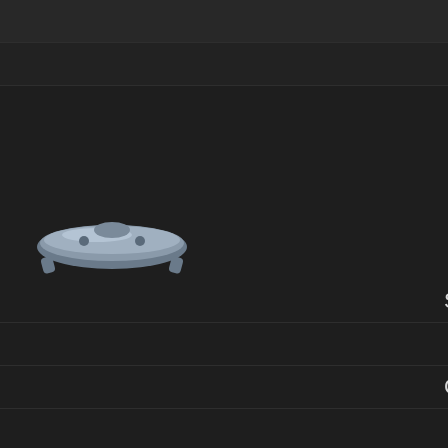Friends
RSS
rsbandb
[Figure (logo): A 3D rendered logo or icon showing a metallic/silver object resembling a character or creature, on a dark background]
Support Us
Home
Calculators
Signatures
Interactive Map
House Designer
Grand Exchange Portfolio
Forums
Informer
[Figure (screenshot): A horizontal icon bar showing macOS dock-style icons including Finder, a clock/compass, Mail, Safari, iChat/Messenger, Address Book, and another icon, on a blue-purple gradient background]
OSx86 is a version of Ap system which has been m â€˜x86â€™ machines. S you can download OSx8
To install OSx86 you w
An SSE3 processor (SSI less stability)
An Intel motherboard (A for AMD Boards)